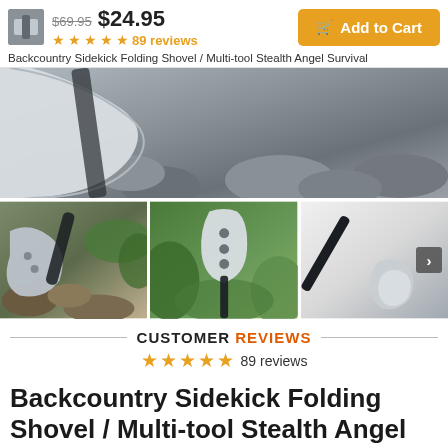$69.95  $24.95  ★★★★★ 89 reviews  Add to Cart
Backcountry Sidekick Folding Shovel / Multi-tool Stealth Angel Survival
[Figure (photo): Hero image showing a folding shovel blade close-up against rocks outdoors]
[Figure (photo): Thumbnail 1: folding shovel multi-tool on rocky ground among foliage]
[Figure (photo): Thumbnail 2: folding shovel blade open showing holes, against green plants]
[Figure (photo): Thumbnail 3: folding shovel collapsed with handle extended on white background]
CUSTOMER REVIEWS ★★★★★ 89 reviews
Backcountry Sidekick Folding Shovel / Multi-tool Stealth Angel Survival